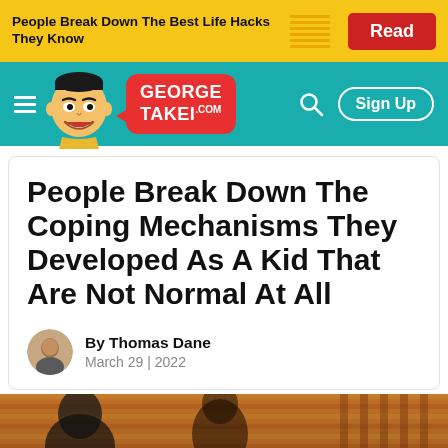[Figure (screenshot): Yellow ad banner with bold text 'People Break Down The Best Life Hacks They Know' and a red 'Read' button]
[Figure (screenshot): George Takei website navigation bar with teal background, cartoon George Takei face, red speech bubble logo, hamburger menu, search icon, and Sign Up button]
People Break Down The Coping Mechanisms They Developed As A Kid That Are Not Normal At All
By Thomas Dane
March 29 | 2022
[Figure (photo): Photo strip showing people, partially visible at bottom of page, warm orange/brown tones suggesting an indoor setting with blinds]